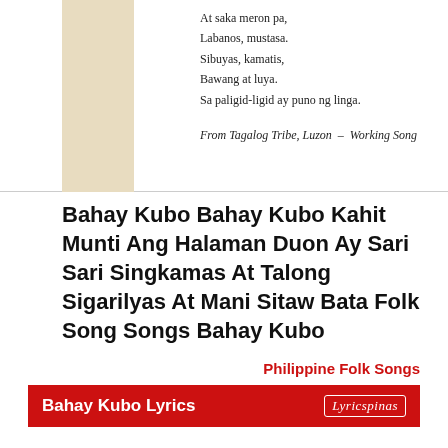At saka meron pa,
Labanos, mustasa.
Sibuyas, kamatis,
Bawang at luya.
Sa paligid-ligid ay puno ng linga.
From Tagalog Tribe, Luzon ~ Working Song
Bahay Kubo Bahay Kubo Kahit Munti Ang Halaman Duon Ay Sari Sari Singkamas At Talong Sigarilyas At Mani Sitaw Bata Folk Song Songs Bahay Kubo
Philippine Folk Songs
Bahay Kubo Lyrics
(Original Tagalog)

Bahay kubo, kahit munti
Ang halaman doon, ay sari sari